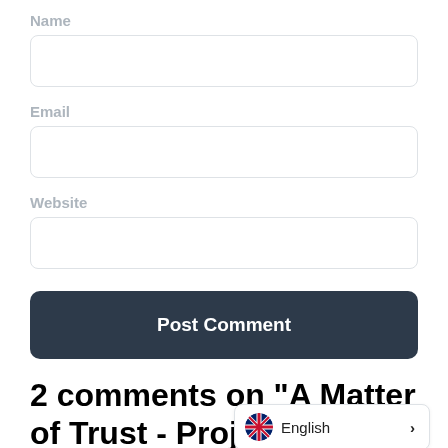Name
[Figure (screenshot): Empty text input field for Name]
Email
[Figure (screenshot): Empty text input field for Email]
Website
[Figure (screenshot): Empty text input field for Website]
Post Comment
2 comments on “A Matter of Trust - Project Possible- Neurodiversity at
[Figure (screenshot): Language switcher widget showing UK flag and English text with right arrow]